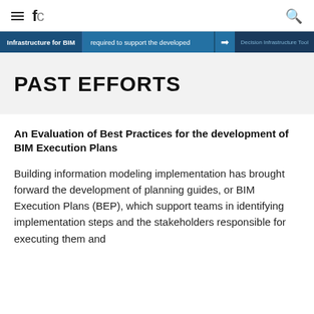fc
[Figure (screenshot): Website navigation banner showing 'Infrastructure for BIM | required to support the developed → Decision Infrastructure Tool']
PAST EFFORTS
An Evaluation of Best Practices for the development of BIM Execution Plans
Building information modeling implementation has brought forward the development of planning guides, or BIM Execution Plans (BEP), which support teams in identifying implementation steps and the stakeholders responsible for executing them and